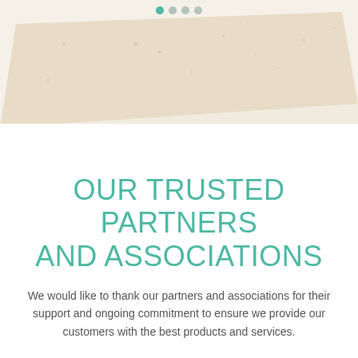[Figure (photo): Close-up photo of a light beige/cream colored material or surface, possibly engineered wood or composite board, viewed from an angle showing the edge and top surface. Navigation dots (one teal, three gray) appear at the top center.]
OUR TRUSTED PARTNERS AND ASSOCIATIONS
We would like to thank our partners and associations for their support and ongoing commitment to ensure we provide our customers with the best products and services.